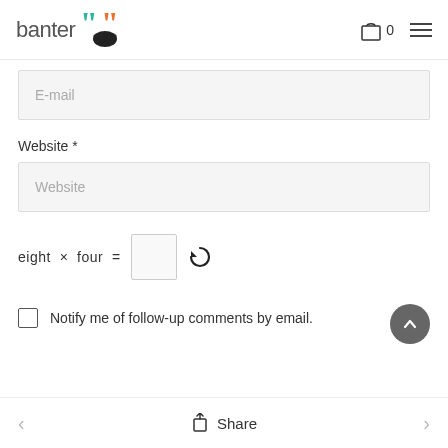banter [logo]
E-mail
Website *
Website
eight × four =
Notify me of follow-up comments by email.
Share